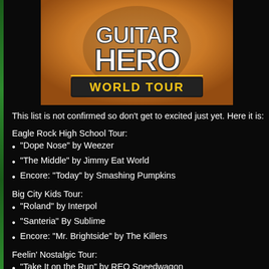[Figure (photo): Guitar Hero World Tour logo/game artwork on orange/tan background]
This list is not confirmed so don't get to excited just yet. Here it is:
Eagle Rock High School Tour:
"Dope Nose" by Weezer
"The Middle" by Jimmy Eat World
Encore: "Today" by Smashing Pumpkins
Big City Kids Tour:
"Roland" by Interpol
"Santeria" By Sublime
Encore: "Mr. Brightside" by The Killers
Feelin' Nostalgic Tour:
"Take It on the Run" by REO Speedwagon